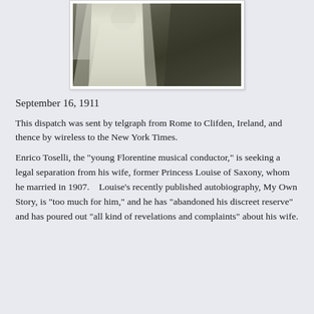[Figure (photo): Black and white photograph of a person in white wedding dress/veil, partially visible, dark background]
September 16, 1911
This dispatch was sent by telgraph from Rome to Clifden, Ireland, and thence by wireless to the New York Times.
Enrico Toselli, the "young Florentine musical conductor," is seeking a legal separation from his wife, former Princess Louise of Saxony, whom he married in 1907.    Louise's recently published autobiography, My Own Story, is "too much for him," and he has "abandoned his discreet reserve" and has poured out "all kind of revelations and complaints" about his wife.